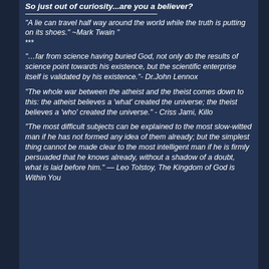So just out of curiosity...are you a believer?
"A lie can travel half way around the world while the truth is putting on its shoes." ~Mark Twain " ***
"…far from science having buried God, not only do the results of science point towards his existence, but the scientific enterprise itself is validated by his existence."- Dr.John Lennox
"The whole war between the atheist and the theist comes down to this: the atheist believes a 'what' created the universe; the theist believes a 'who' created the universe." - Criss Jami, Killo
"The most difficult subjects can be explained to the most slow-witted man if he has not formed any idea of them already; but the simplest thing cannot be made clear to the most intelligent man if he is firmly persuaded that he knows already, without a shadow of a doubt, what is laid before him." — Leo Tolstoy, The Kingdom of God is Within You